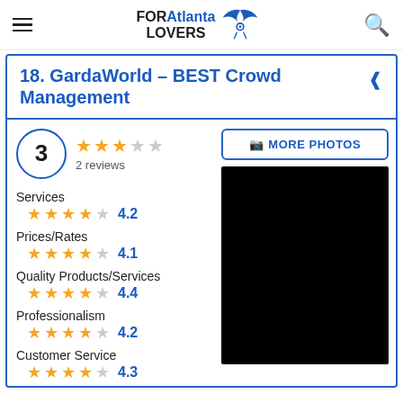FORAtlanta LOVERS
18. GardaWorld - BEST Crowd Management
3 — 2 reviews
Services ★★★★☆ 4.2
Prices/Rates ★★★★☆ 4.1
Quality Products/Services ★★★★☆ 4.4
Professionalism ★★★★☆ 4.2
Customer Service ★★★★☆ 4.3
[Figure (photo): Black placeholder photo area for GardaWorld listing]
MORE PHOTOS